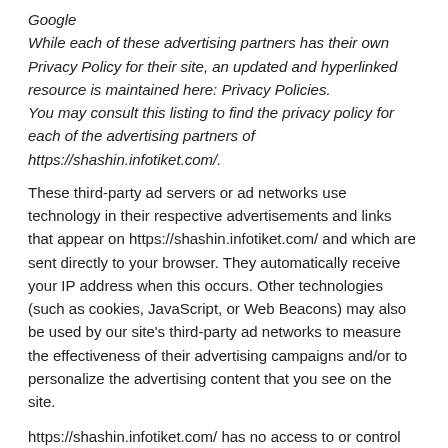Google
While each of these advertising partners has their own Privacy Policy for their site, an updated and hyperlinked resource is maintained here: Privacy Policies.
You may consult this listing to find the privacy policy for each of the advertising partners of https://shashin.infotiket.com/.
These third-party ad servers or ad networks use technology in their respective advertisements and links that appear on https://shashin.infotiket.com/ and which are sent directly to your browser. They automatically receive your IP address when this occurs. Other technologies (such as cookies, JavaScript, or Web Beacons) may also be used by our site's third-party ad networks to measure the effectiveness of their advertising campaigns and/or to personalize the advertising content that you see on the site.
https://shashin.infotiket.com/ has no access to or control over these cookies that are used by third-party advertisers.
Third Party Privacy Policies
You should consult the respective privacy policies of these third-